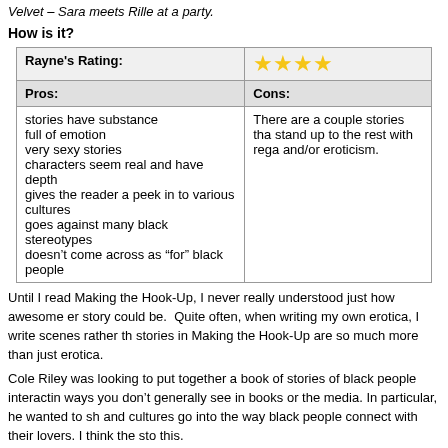Velvet – Sara meets Rille at a party.
How is it?
| Rayne's Rating: | ★★★★ |
| --- | --- |
| Pros: | Cons: |
| stories have substance
full of emotion
very sexy stories
characters seem real and have depth
gives the reader a peek in to various cultures
goes against many black stereotypes
doesn't come across as "for" black people | There are a couple stories tha stand up to the rest with rega and/or eroticism. |
Until I read Making the Hook-Up, I never really understood just how awesome er story could be. Quite often, when writing my own erotica, I write scenes rather th stories in Making the Hook-Up are so much more than just erotica.
Cole Riley was looking to put together a book of stories of black people interactin ways you don't generally see in books or the media. In particular, he wanted to sh and cultures go into the way black people connect with their lovers. I think the sto this.
If I had to pick a favorite story, it would be a really close call. There's a story abo culture, and another conflicted by her religion. One about a woman who ended u place she ran from, and another about a woman completely comfortable with her she no longer hears from.